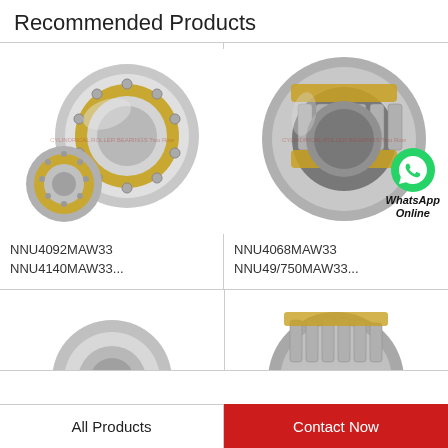Recommended Products
[Figure (photo): Cylindrical roller bearing NNU4092MAW33 NNU4140MAW33 - two bearings shown, silver/gold colored, with watermark text]
NNU4092MAW33
NNU4140MAW33...
[Figure (photo): Cylindrical roller bearing NNU4068MAW33 NNU49/750MAW33 - large silver/gold roller bearing shown with WhatsApp Online badge overlay]
NNU4068MAW33
NNU49/750MAW33...
[Figure (photo): Partial view of a bearing at bottom left]
[Figure (photo): Partial view of a bearing at bottom right]
All Products
Contact Now